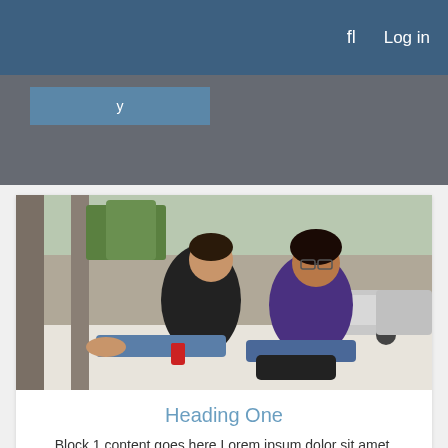fl  Log in
[Figure (photo): Two young men sitting on the ground leaning against a concrete wall outdoors, with cars parked in the background. One wears a black shirt, the other a purple shirt.]
Heading One
Block 1 content goes here Lorem ipsum dolor sit amet, consectetur adipiscing elit.
Find out more